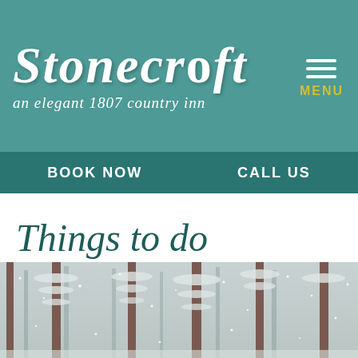Stonecroft – an elegant 1807 country inn
BOOK NOW    CALL US
Things to do
[Figure (photo): Winter forest scene with tall pine and fir trees heavily dusted with snow, falling snowflakes, misty pale grey sky in background]